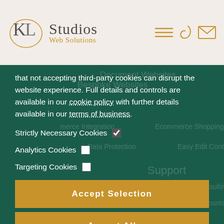[Figure (logo): KL Studios Web Solutions logo with oval outline around KL letters and golden 'Web Solutions' tagline]
that not accepting third-party cookies can disrupt the website experience. Full details and controls are available in our cookie policy with further details available in our terms of business.
Strictly Necessary Cookies [checked]
Analytics Cookies [unchecked]
Targeting Cookies [unchecked]
Accept Selection
Accept All